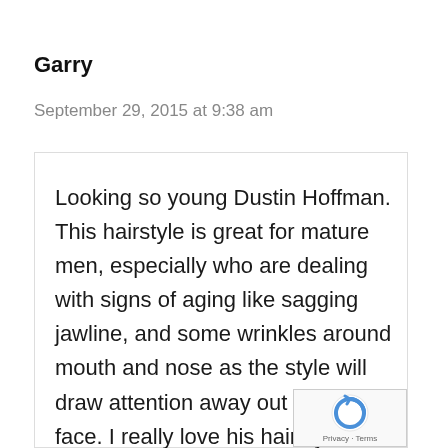Garry
September 29, 2015 at 9:38 am
Looking so young Dustin Hoffman. This hairstyle is great for mature men, especially who are dealing with signs of aging like sagging jawline, and some wrinkles around mouth and nose as the style will draw attention away out of the face. I really love his hairstyle. I hope my father will love it as his hairstyle
[Figure (logo): reCAPTCHA badge with blue circular arrow logo and Privacy · Terms text]